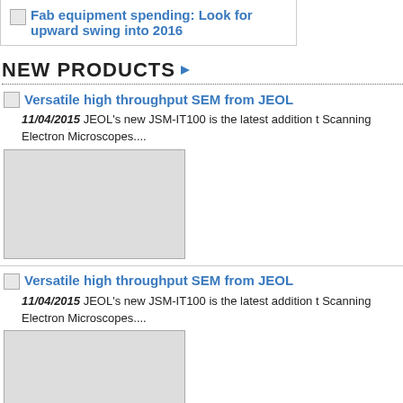Fab equipment spending: Look for upward swing into 2016
NEW PRODUCTS
Versatile high throughput SEM from JEOL — 11/04/2015 JEOL's new JSM-IT100 is the latest addition to Scanning Electron Microscopes....
Versatile high throughput SEM from JEOL — 11/04/2015 JEOL's new JSM-IT100 is the latest addition to Scanning Electron Microscopes....
Greenpeak and Dusan Launch Smart Parking system — 09/14/2015 GreenPeak Technologies and Dusun Electron... partnership with the launch of their first Smart City assist...